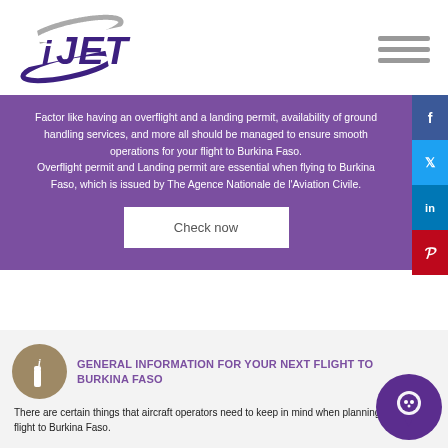[Figure (logo): iJET logo — stylized purple and grey italic text with swoosh]
[Figure (other): Hamburger menu icon (three grey horizontal lines)]
Factor like having an overflight and a landing permit, availability of ground handling services, and more all should be managed to ensure smooth operations for your flight to Burkina Faso.
Overflight permit and Landing permit are essential when flying to Burkina Faso, which is issued by The Agence Nationale de l'Aviation Civile.
[Figure (other): Check now button — white rectangle on purple background]
[Figure (other): Social media sidebar icons: Facebook, Twitter, LinkedIn, Pinterest]
GENERAL INFORMATION FOR YOUR NEXT FLIGHT TO BURKINA FASO
There are certain things that aircraft operators need to keep in mind when planning for their flight to Burkina Faso.